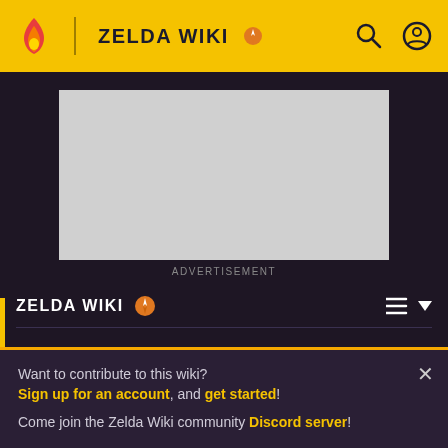ZELDA WIKI
[Figure (screenshot): Advertisement placeholder box]
ADVERTISEMENT
ZELDA WIKI
Din's Fire
Want to contribute to this wiki? Sign up for an account, and get started! Come join the Zelda Wiki community Discord server!